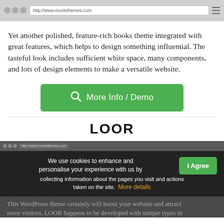[Figure (screenshot): Browser address bar with URL http://www.moxiethemes.com shown on grey background]
Yet another polished, feature-rich books theme integrated with great features, which helps to design something influential. The tasteful look includes sufficient white space, many components, and lots of design elements to make a versatile website.
[Figure (other): Green rounded button labeled 'More Info / Demo' with search icon]
LOOR
[Figure (screenshot): Dark section showing a mini browser screenshot with a cookie consent overlay. Cookie text: 'We use cookies to enhance and personalise your experience with us by collecting information about the pages you visit and actions taken on the site. More details' with an 'I Agree' green button. Below partial text: 'This WordPress theme certainly will boost your website and attract more visitors. LOOR happens to be developed with unique types in']